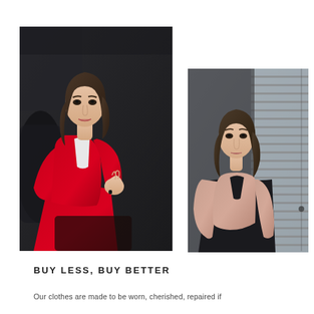[Figure (photo): A young woman in a red velvet suit seated, hand raised near chin, dark background with leather furniture]
[Figure (photo): A young woman in a pink tweed blazer over a black top, standing near window with horizontal blinds]
BUY LESS, BUY BETTER
Our clothes are made to be worn, cherished, repaired if